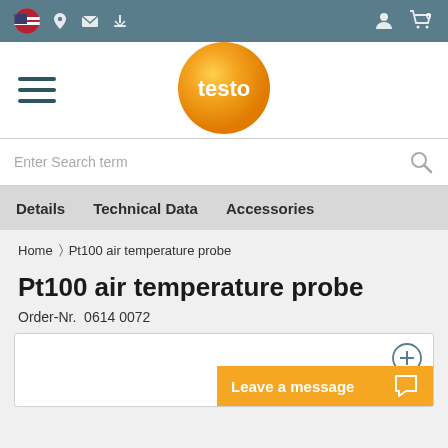Testo website navigation bar with country flag, location, mail, download icons, user and cart icons
[Figure (logo): Testo orange sphere logo with white text 'testo']
Enter Search term
Details   Technical Data   Accessories
Home > Pt100 air temperature probe
Pt100 air temperature probe
Order-Nr.  0614 0072
[Figure (other): Product image area with plus/expand button and Leave a message chat button]